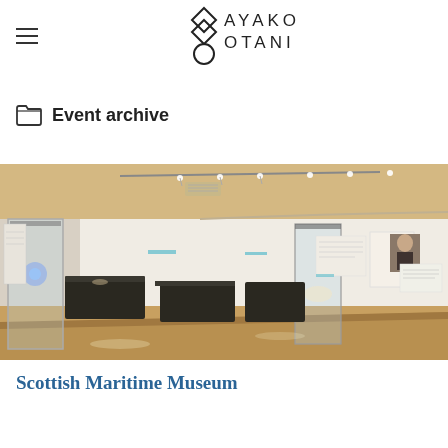AYAKO OTANI (logo)
Event archive
[Figure (photo): Interior of a museum exhibition hall with display cases, wooden floor, white walls, track lighting on the ceiling, and various exhibits including glass cases with artifacts. A photograph of a person is visible on the right wall.]
Scottish Maritime Museum